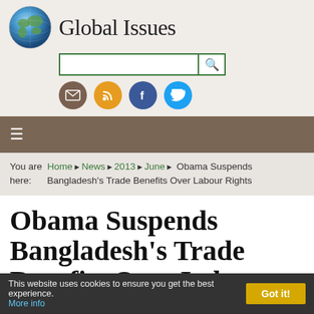Global Issues
You are here: Home › News › 2013 › June › Obama Suspends Bangladesh's Trade Benefits Over Labour Rights
Obama Suspends Bangladesh's Trade Benefits Over Labour Rights
This website uses cookies to ensure you get the best experience. More info